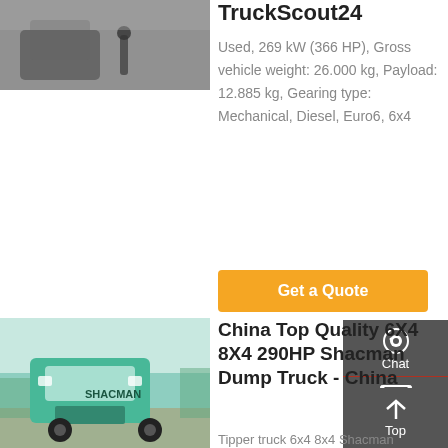[Figure (photo): Interior cab photo of a truck, showing seat and gear shift]
TruckScout24
Used, 269 kW (366 HP), Gross vehicle weight: 26.000 kg, Payload: 12.885 kg, Gearing type: Mechanical, Diesel, Euro6, 6x4
[Figure (other): Get a Quote orange button]
[Figure (photo): Teal/green Shacman dump truck front view]
China Top Quality 6X4 8X4 290HP Shacman Dump Truck - China
Tipper truck 6x4 8x4 Shacman dump truck 1.Good price from